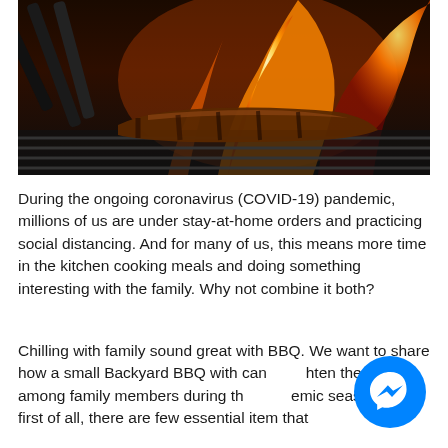[Figure (photo): Close-up photo of meat being grilled on a barbecue grill with open flames in the background]
During the ongoing coronavirus (COVID-19) pandemic, millions of us are under stay-at-home orders and practicing social distancing. And for many of us, this means more time in the kitchen cooking meals and doing something interesting with the family. Why not combine it both?
Chilling with family sound great with BBQ. We want to share how a small Backyard BBQ with can lighten the bond among family members during the pandemic season. But first of all, there are few essential item that